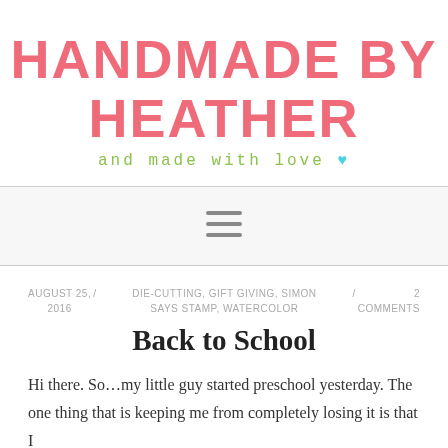HANDMADE BY HEATHER
and made with love ♥
[Figure (other): Hamburger menu icon (three horizontal lines)]
AUGUST 25, 2016 / DIE-CUTTING, GIFT GIVING, SIMON SAYS STAMP, WATERCOLOR / 2 COMMENTS
Back to School
Hi there. So…my little guy started preschool yesterday. The one thing that is keeping me from completely losing it is that I